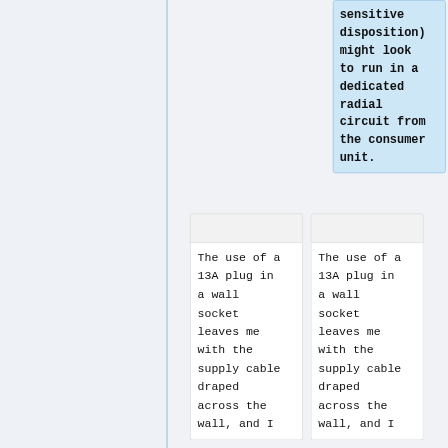sensitive disposition) might look to run in a dedicated radial circuit from the consumer unit.
The use of a 13A plug in a wall socket leaves me with the supply cable draped across the wall, and I
The use of a 13A plug in a wall socket leaves me with the supply cable draped across the wall, and I